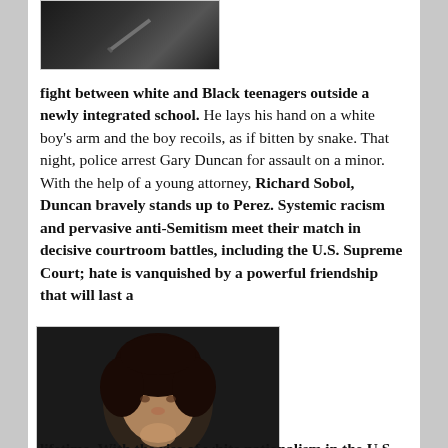[Figure (photo): Dark image, partially visible, appears to show objects against a black background]
fight between white and Black teenagers outside a newly integrated school. He lays his hand on a white boy's arm and the boy recoils, as if bitten by snake. That night, police arrest Gary Duncan for assault on a minor. With the help of a young attorney, Richard Sobol, Duncan bravely stands up to Perez. Systemic racism and pervasive anti-Semitism meet their match in decisive courtroom battles, including the U.S. Supreme Court; hate is vanquished by a powerful friendship that will last a
[Figure (photo): Portrait photo of a woman with curly dark hair, hand raised to chin, against a dark background]
lifetime. With the rise of white nationalism in the U.S.